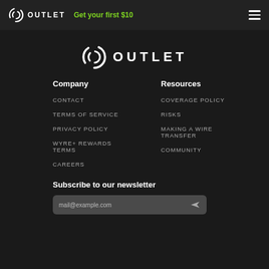OUTLET  Get your first $10
[Figure (logo): Outlet logo — circular arrow icon with OUTLET text in large letters]
Company
Resources
CONTACT
COVERAGE POLICY
TERMS OF SERVICE
RISKS
PRIVACY POLICY
MAKING A WIRE TRANSFER
WYRE+ REWARDS TERMS
COMMUNITY
CAREERS
Subscribe to our newsletter
mail@example.com